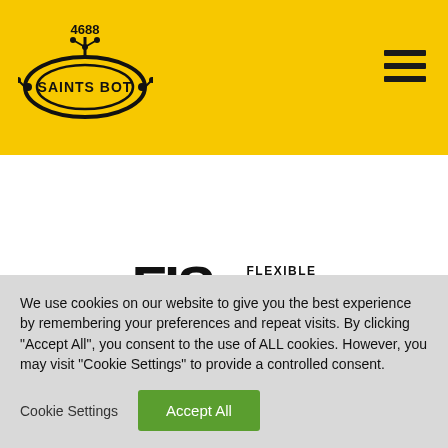Saints Bot 4688 logo and navigation header with yellow background
[Figure (logo): Saints Bot 4688 circular robot logo with circuit board design on yellow background]
[Figure (logo): FIS - Flexible Industrial Solutions logo in black text]
We use cookies on our website to give you the best experience by remembering your preferences and repeat visits. By clicking "Accept All", you consent to the use of ALL cookies. However, you may visit "Cookie Settings" to provide a controlled consent.
Cookie Settings
Accept All